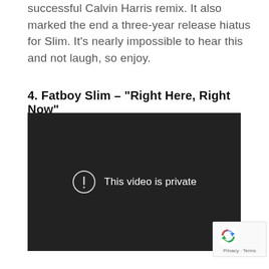successful Calvin Harris remix. It also marked the end a three-year release hiatus for Slim. It's nearly impossible to hear this and not laugh, so enjoy.
4. Fatboy Slim – “Right Here, Right Now”
[Figure (screenshot): Embedded video player showing a dark background with a circle-exclamation icon and the message 'This video is private']
[Figure (logo): reCAPTCHA badge with recycling-arrow logo and 'Privacy · Terms' text]